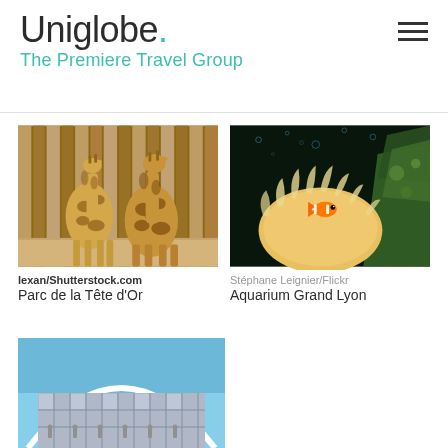Uniglobe. The Premiere Travel Group
[Figure (photo): Two giraffes standing in front of vertical wooden slats/fence at a zoo]
lexan/Shutterstock.com
Parc de la Tête d'Or
[Figure (photo): Underwater aquarium photo showing a clownfish near a sea anemone with coral in the background]
Stéphane Leignier/Flickr
Aquarium Grand Lyon
[Figure (photo): Close-up of a modern building with an arched glass facade and architectural details against a blue sky]